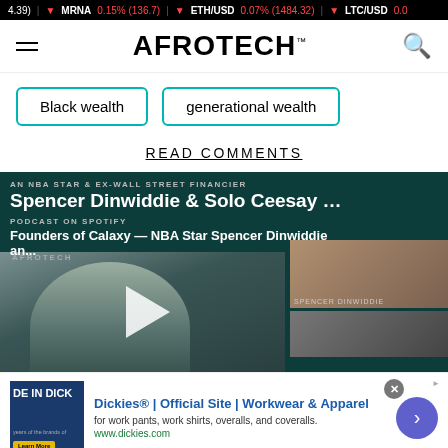4.39) | MRNA 0.15% (136.7) | ETH/USD 0.07% (1484.32) | LTC/USD 0.0...
[Figure (logo): AFROTECH logo with hamburger menu and search icon]
Black wealth
generational wealth
READ COMMENTS
[Figure (screenshot): Video player showing Spencer Dinwiddie & Solo Ceesay with title 'AN NBA STAR & EX-WALL STREET FINANCIER' and podcast 'Founders of Calaxy — NBA Star Spencer Dinwiddie an...' on Spotify, with play button and side thumbnails including Spencer Dinwiddie]
[Figure (infographic): Dickies advertisement banner: 'Dickies® | Official Site | Workwear & Apparel' with text 'for work pants, work shirts, overalls, and coveralls.' and url www.dickies.com]